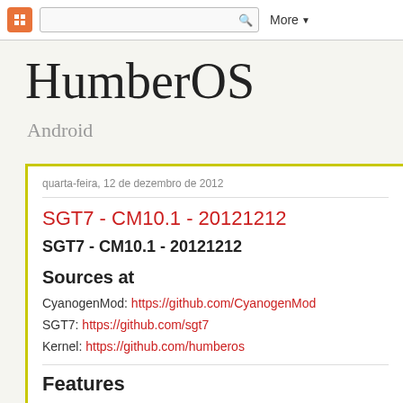Blogger nav bar with icon, search box, and More▼
HumberOS
Android
quarta-feira, 12 de dezembro de 2012
SGT7 - CM10.1 - 20121212
SGT7 - CM10.1 - 20121212
Sources at
CyanogenMod: https://github.com/CyanogenMod
SGT7: https://github.com/sgt7
Kernel: https://github.com/humberos
Features